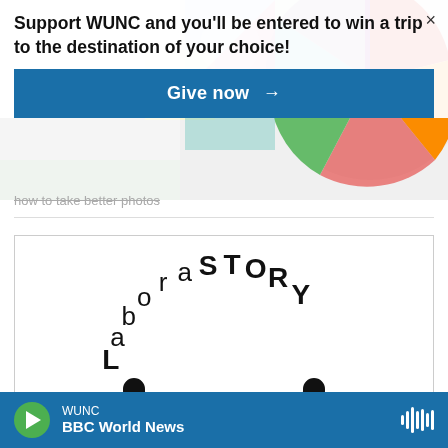[Figure (illustration): Colorful geometric/abstract background with circles and rectangles in various colors behind the support banner]
Support WUNC and you'll be entered to win a trip to the destination of your choice!
Give now →
how to take better photos
[Figure (logo): LaboraSTORY logo — text arranged in a circular arc with a thick semicircle arc below, all in black on white background]
WUNC  BBC World News